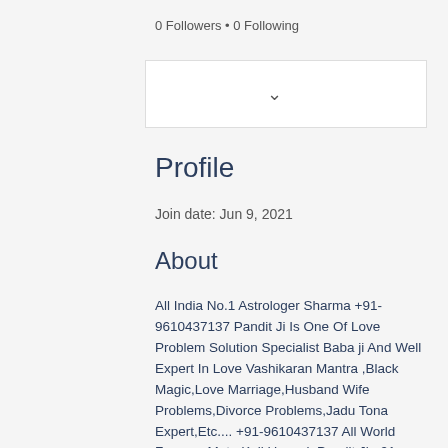0 Followers • 0 Following
[Figure (other): Dropdown/select box with chevron arrow]
Profile
Join date: Jun 9, 2021
About
All India No.1 Astrologer Sharma +91-9610437137 Pandit Ji Is One Of Love Problem Solution Specialist Baba ji And Well Expert In Love Vashikaran Mantra ,Black Magic,Love Marriage,Husband Wife Problems,Divorce Problems,Jadu Tona Expert,Etc.... +91-9610437137 All World Famous Mata Kali Upasak Pandit Ji +91-9610437137